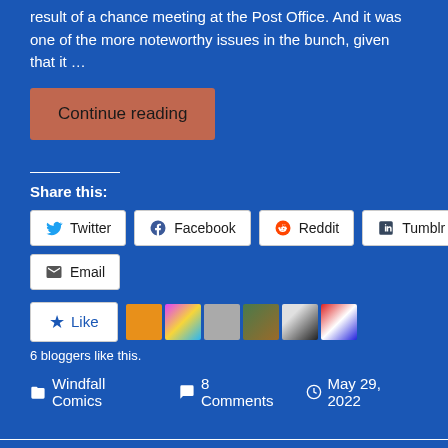result of a chance meeting at the Post Office. And it was one of the more noteworthy issues in the bunch, given that it …
Continue reading
Share this:
Twitter
Facebook
Reddit
Tumblr
Email
6 bloggers like this.
Windfall Comics   8 Comments   May 29, 2022